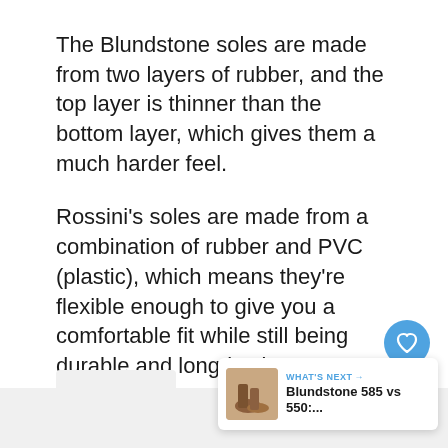The Blundstone soles are made from two layers of rubber, and the top layer is thinner than the bottom layer, which gives them a much harder feel.
Rossini's soles are made from a combination of rubber and PVC (plastic), which means they're flexible enough to give you a comfortable fit while still being durable and long-lasting.
[Figure (other): Heart/like button (blue circle with heart icon), count of 1, and share button below it on the right side of the page]
[Figure (other): What's Next card showing Blundstone 585 vs 550:... with thumbnail of boots]